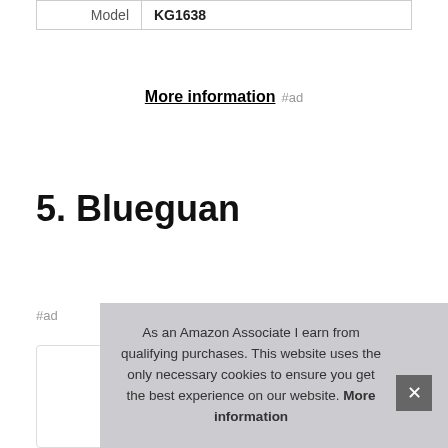| Model | KG1638 |
More information #ad
5. Blueguan
#ad
As an Amazon Associate I earn from qualifying purchases. This website uses the only necessary cookies to ensure you get the best experience on our website. More information